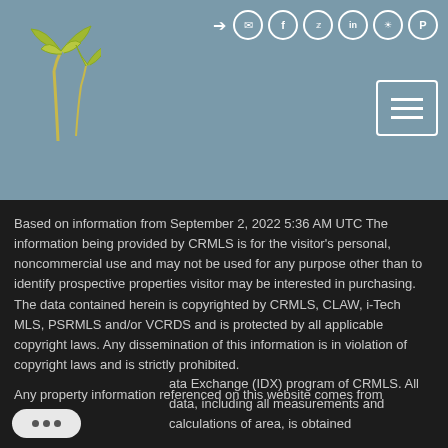[Figure (logo): Palm Realty Boutique logo with stylized palm tree in yellow-green on grey background]
[Figure (infographic): Social media icons row: login arrow, email, Facebook, Twitter, LinkedIn, Instagram, Pinterest — white circle outline icons on grey header]
Based on information from September 2, 2022 5:36 AM UTC The information being provided by CRMLS is for the visitor's personal, noncommercial use and may not be used for any purpose other than to identify prospective properties visitor may be interested in purchasing. The data contained herein is copyrighted by CRMLS, CLAW, i-Tech MLS, PSRMLS and/or VCRDS and is protected by all applicable copyright laws. Any dissemination of this information is in violation of copyright laws and is strictly prohibited.
Any property information referenced on this website comes from the Internet Data Exchange (IDX) program of CRMLS. All data, including all measurements and calculations of area, is obtained